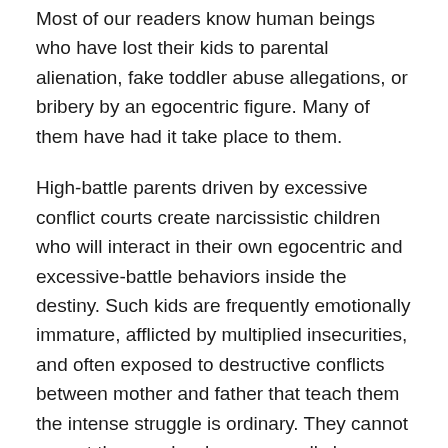Most of our readers know human beings who have lost their kids to parental alienation, fake toddler abuse allegations, or bribery by an egocentric figure. Many of them have had it take place to them.
High-battle parents driven by excessive conflict courts create narcissistic children who will interact in their own egocentric and excessive-battle behaviors inside the destiny. Such kids are frequently emotionally immature, afflicted by multiplied insecurities, and often exposed to destructive conflicts between mother and father that teach them the intense struggle is ordinary. They cannot expect the people who supposedly love them. Their lives mean they can not efficiently cognizance of education, taking affordable dangers, and “simply being kids” like most kids used for you to do.
The parental conflict also manner that academic enrichment opportunities are fewer for them as their dad and mom are paying their lifestyles savings to the divorce industry. This is destroying their households, and they are so busy writing declarations.